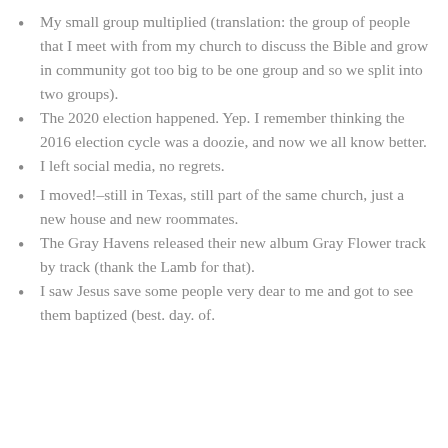My small group multiplied (translation: the group of people that I meet with from my church to discuss the Bible and grow in community got too big to be one group and so we split into two groups).
The 2020 election happened. Yep. I remember thinking the 2016 election cycle was a doozie, and now we all know better.
I left social media, no regrets.
I moved!–still in Texas, still part of the same church, just a new house and new roommates.
The Gray Havens released their new album Gray Flower track by track (thank the Lamb for that).
I saw Jesus save some people very dear to me and got to see them baptized (best. day. of.